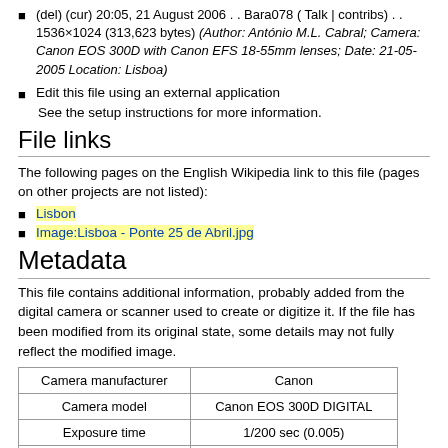(del) (cur) 20:05, 21 August 2006 . . Bara078 (Talk | contribs) . . 1536×1024 (313,623 bytes) (Author: António M.L. Cabral; Camera: Canon EOS 300D with Canon EFS 18-55mm lenses; Date: 21-05-2005 Location: Lisboa)
Edit this file using an external application
See the setup instructions for more information.
File links
The following pages on the English Wikipedia link to this file (pages on other projects are not listed):
Lisbon
Image:Lisboa - Ponte 25 de Abril.jpg
Metadata
This file contains additional information, probably added from the digital camera or scanner used to create or digitize it. If the file has been modified from its original state, some details may not fully reflect the modified image.
| Camera manufacturer | Canon |
| --- | --- |
| Camera model | Canon EOS 300D DIGITAL |
| Exposure time | 1/200 sec (0.005) |
| F number | f/0 |